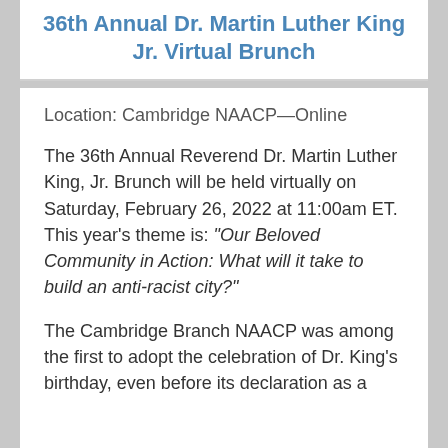36th Annual Dr. Martin Luther King Jr. Virtual Brunch
Location: Cambridge NAACP—Online
The 36th Annual Reverend Dr. Martin Luther King, Jr. Brunch will be held virtually on Saturday, February 26, 2022 at 11:00am ET. This year's theme is: "Our Beloved Community in Action: What will it take to build an anti-racist city?"
The Cambridge Branch NAACP was among the first to adopt the celebration of Dr. King's birthday, even before its declaration as a